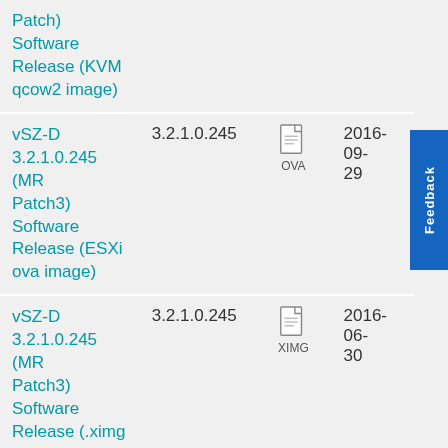| Name | Version | Type | Date |
| --- | --- | --- | --- |
| Patch) Software Release (KVM qcow2 image) |  |  |  |
| vSZ-D 3.2.1.0.245 (MR Patch3) Software Release (ESXi ova image) | 3.2.1.0.245 | OVA | 2016-09-29 |
| vSZ-D 3.2.1.0.245 (MR Patch3) Software Release (.ximg image) | 3.2.1.0.245 | XIMG | 2016-06-30 |